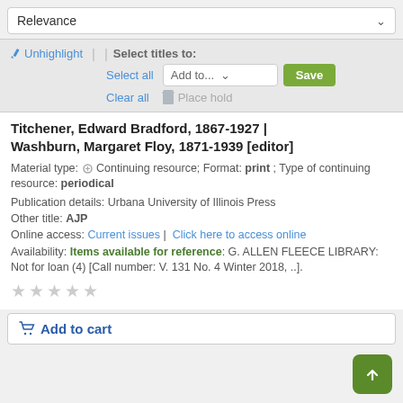Relevance
Unhighlight | Select titles to: Select all Add to... Save Clear all Place hold
Titchener, Edward Bradford, 1867-1927 | Washburn, Margaret Floy, 1871-1939 [editor]
Material type: Continuing resource; Format: print ; Type of continuing resource: periodical
Publication details: Urbana University of Illinois Press
Other title: AJP
Online access: Current issues | Click here to access online
Availability: Items available for reference: G. ALLEN FLEECE LIBRARY: Not for loan (4) [Call number: V. 131 No. 4 Winter 2018, ..].
★★★★★
Add to cart